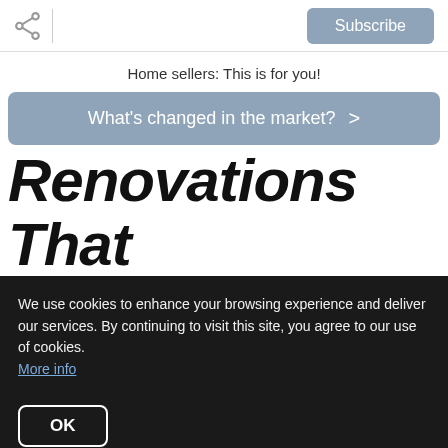Subscribe
Home sellers: This is for you!
What's changed in the market? >
Renovations That Prove You Shouldn't Overlook Fixer-Uppers
We use cookies to enhance your browsing experience and deliver our services. By continuing to visit this site, you agree to our use of cookies. More info
OK